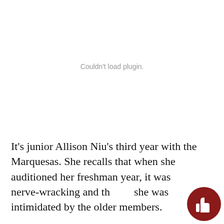[Figure (other): Plugin placeholder area showing 'Couldn't load plugin.' message in gray text on white background]
It's junior Allison Niu's third year with the Marquesas. She recalls that when she auditioned her freshman year, it was nerve-wracking and that she was intimidated by the older members.
[Figure (illustration): Dark red circular thumbs-up icon button in the bottom right corner]